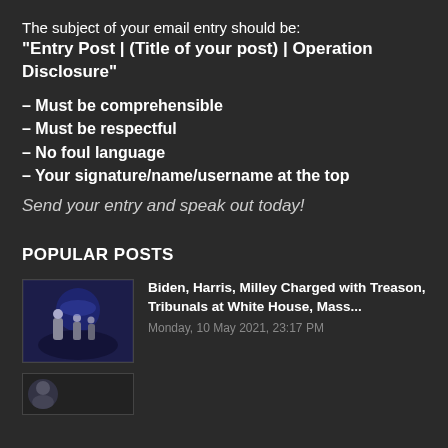The subject of your email entry should be: "Entry Post | (Title of your post) | Operation Disclosure"
– Must be comprehensible
– Must be respectful
– No foul language
– Your signature/name/username at the top
Send your entry and speak out today!
POPULAR POSTS
Biden, Harris, Milley Charged with Treason, Tribunals at White House, Mass...
Monday, 10 May 2021, 23:17 PM